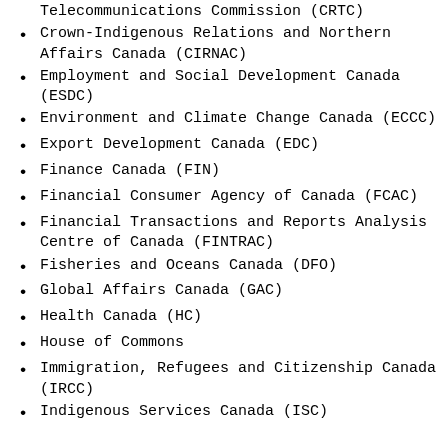Telecommunications Commission (CRTC)
Crown-Indigenous Relations and Northern Affairs Canada (CIRNAC)
Employment and Social Development Canada (ESDC)
Environment and Climate Change Canada (ECCC)
Export Development Canada (EDC)
Finance Canada (FIN)
Financial Consumer Agency of Canada (FCAC)
Financial Transactions and Reports Analysis Centre of Canada (FINTRAC)
Fisheries and Oceans Canada (DFO)
Global Affairs Canada (GAC)
Health Canada (HC)
House of Commons
Immigration, Refugees and Citizenship Canada (IRCC)
Indigenous Services Canada (ISC)